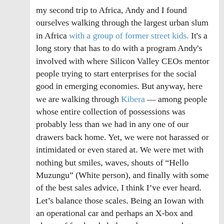my second trip to Africa, Andy and I found ourselves walking through the largest urban slum in Africa with a group of former street kids. It's a long story that has to do with a program Andy's involved with where Silicon Valley CEOs mentor people trying to start enterprises for the social good in emerging economies. But anyway, here we are walking through Kibera — among people whose entire collection of possessions was probably less than we had in any one of our drawers back home. Yet, we were not harassed or intimidated or even stared at. We were met with nothing but smiles, waves, shouts of “Hello Muzungu” (White person), and finally with some of the best sales advice, I think I’ve ever heard. Let’s balance those scales. Being an Iowan with an operational car and perhaps an X-box and plenty of food and clothes who waves and stops to help someone with their car: good. Seeing someone with material wealth beyond your imagining walking through your slum, while you scratch out a subsistence